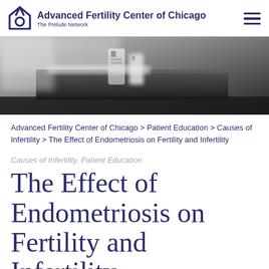Advanced Fertility Center of Chicago — The Prelude Network
[Figure (photo): Close-up photograph of laboratory equipment on a dark surface, showing vials or containers in a tray, blurred background]
Advanced Fertility Center of Chicago > Patient Education > Causes of Infertility > The Effect of Endometriosis on Fertility and Infertility
Causes of Infertility, Patient Education
The Effect of Endometriosis on Fertility and Infertility